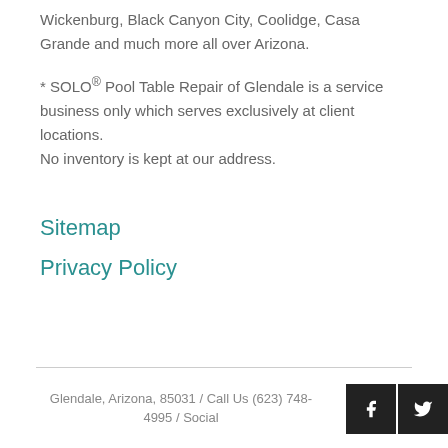Wickenburg, Black Canyon City, Coolidge, Casa Grande and much more all over Arizona.
* SOLO® Pool Table Repair of Glendale is a service business only which serves exclusively at client locations. No inventory is kept at our address.
Sitemap
Privacy Policy
Glendale, Arizona, 85031 / Call Us (623) 748-4995 / Social